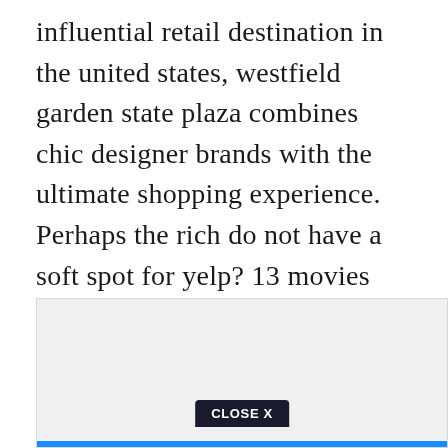influential retail destination in the united states, westfield garden state plaza combines chic designer brands with the ultimate shopping experience. Perhaps the rich do not have a soft spot for yelp? 13 movies playing at this theater today, august 12. Wfl garden state plaza, 1034 garden state plaza 31.
[Figure (other): Advertisement box with light gray background and a 'CLOSE X' button at the bottom center, with a blue bar below it]